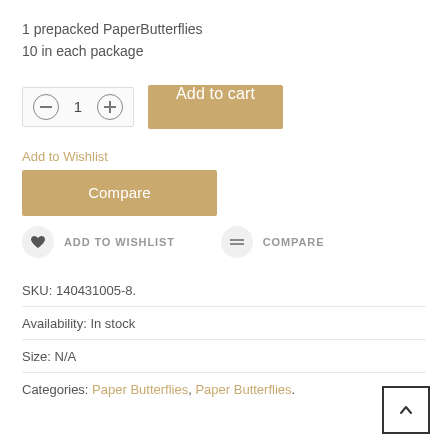1 prepacked PaperButterflies
10 in each package
[Figure (other): Quantity selector with minus and plus buttons showing value 1, and an Add to cart button]
Add to Wishlist
[Figure (other): Compare button (tan/gold colored)]
[Figure (other): Icon row with heart icon labeled ADD TO WISHLIST and compare icon labeled COMPARE]
SKU: 140431005-8.
Availability: In stock
Size: N/A
Categories: Paper Butterflies, Paper Butterflies.